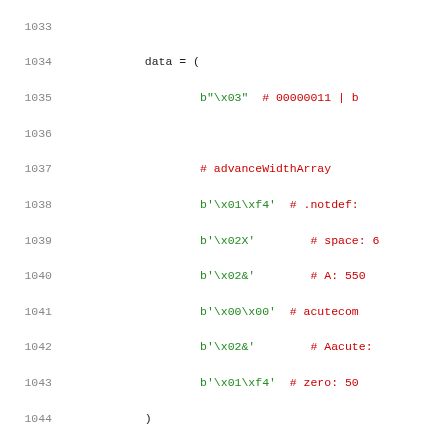Code listing lines 1033–1053 showing Python code for hmtxTable reconstruction with binary data and metrics dictionary